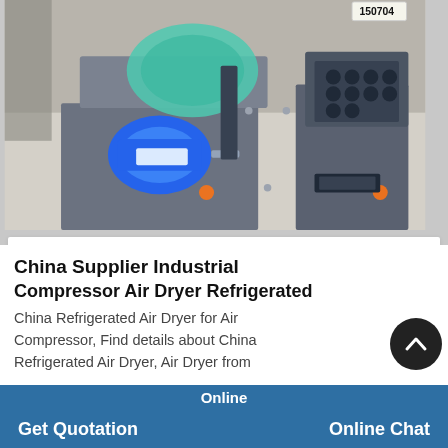[Figure (photo): Industrial compressor air dryer machine with blue electric motor, green belt cover, and grey metal body with honeycomb output port, labeled 150704, photographed in a warehouse setting.]
China Supplier Industrial Compressor Air Dryer Refrigerated
China Refrigerated Air Dryer for Air Compressor, Find details about China Refrigerated Air Dryer, Air Dryer from
Online
Get Quotation
Online Chat